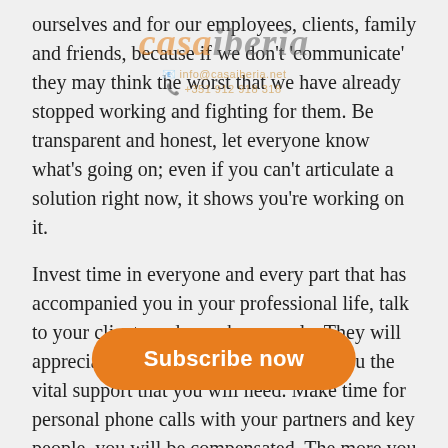ourselves and for our employees, clients, family and friends, because if we don't 'communicate' they may think the worst that we have already stopped working and fighting for them. Be transparent and honest, let everyone know what's going on; even if you can't articulate a solution right now, it shows you're working on it.
Invest time in everyone and every part that has accompanied you in your professional life, talk to your clients and your key people. They will appreciate your attitude and will give you the vital support that you will need. Make time for personal phone calls with your partners and key people, you will be compensated. The more you communicate, the more you will realize how others are needing to talk to you as well, it will be compensated after the crisis by them to you.
B) "Involve your team and y…tion"
By involving your team and y… can be part of the solution. You'll somehow involve hundreds of people, it